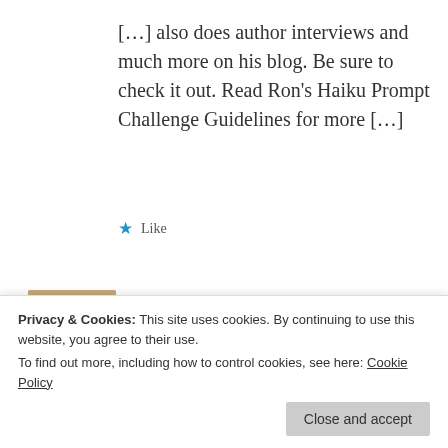[…] also does author interviews and much more on his blog. Be sure to check it out. Read Ron's Haiku Prompt Challenge Guidelines for more […]
Like
Haiku Friday – Gold & Sing | The Writer Next Door
December 2, 2016 at 11:40 am
0  0  Rate This
Privacy & Cookies: This site uses cookies. By continuing to use this website, you agree to their use. To find out more, including how to control cookies, see here: Cookie Policy
Close and accept
Challenge Guidelines for more […]